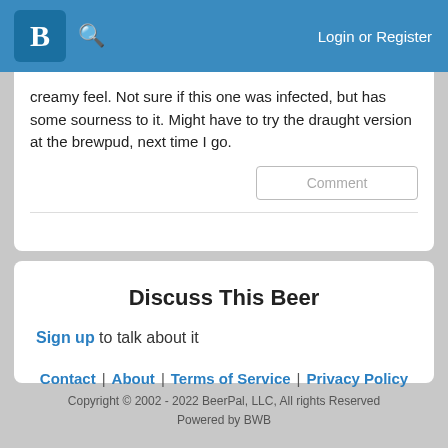B [logo] [search icon] Login or Register
creamy feel. Not sure if this one was infected, but has some sourness to it. Might have to try the draught version at the brewpud, next time I go.
Discuss This Beer
Sign up to talk about it
Contact | About | Terms of Service | Privacy Policy
Copyright © 2002 - 2022 BeerPal, LLC, All rights Reserved
Powered by BWB